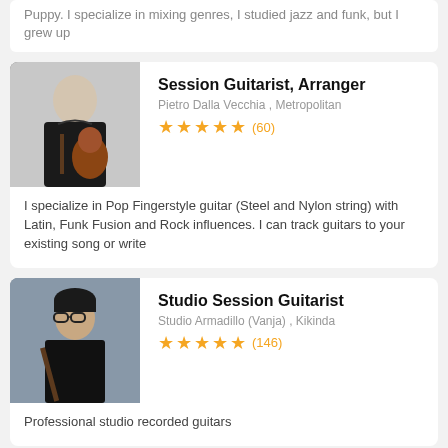Puppy. I specialize in mixing genres, I studied jazz and funk, but I grew up
Session Guitarist, Arranger
Pietro Dalla Vecchia , Metropolitan
★★★★★ (60)
[Figure (photo): Photo of a man playing guitar, wearing a black shirt]
I specialize in Pop Fingerstyle guitar (Steel and Nylon string) with Latin, Funk Fusion and Rock influences. I can track guitars to your existing song or write
Studio Session Guitarist
Studio Armadillo (Vanja) , Kikinda
★★★★★ (146)
[Figure (photo): Photo of a man with glasses and dark hair]
Professional studio recorded guitars
Dobro, Lap Steel, Guitars
Orville Johnson , Seattle